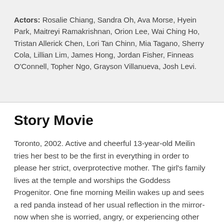Actors: Rosalie Chiang, Sandra Oh, Ava Morse, Hyein Park, Maitreyi Ramakrishnan, Orion Lee, Wai Ching Ho, Tristan Allerick Chen, Lori Tan Chinn, Mia Tagano, Sherry Cola, Lillian Lim, James Hong, Jordan Fisher, Finneas O'Connell, Topher Ngo, Grayson Villanueva, Josh Levi.
Story Movie
Toronto, 2002. Active and cheerful 13-year-old Meilin tries her best to be the first in everything in order to please her strict, overprotective mother. The girl's family lives at the temple and worships the Goddess Progenitor. One fine morning Meilin wakes up and sees a red panda instead of her usual reflection in the mirror-now when she is worried, angry, or experiencing other strong emotions, she turns into a big beast. Not only does this happen at the most